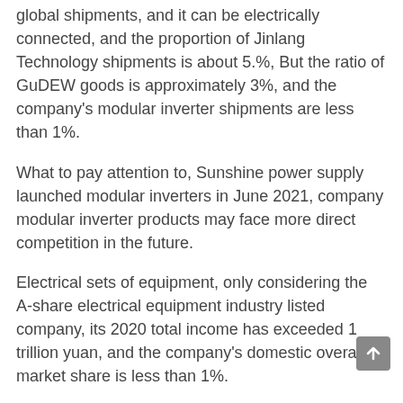global shipments, and it can be electrically connected, and the proportion of Jinlang Technology shipments is about 5.%, But the ratio of GuDEW goods is approximately 3%, and the company's modular inverter shipments are less than 1%.
What to pay attention to, Sunshine power supply launched modular inverters in June 2021, company modular inverter products may face more direct competition in the future.
Electrical sets of equipment, only considering the A-share electrical equipment industry listed company, its 2020 total income has exceeded 1 trillion yuan, and the company's domestic overall market share is less than 1%.
In addition, according to the company's official website, the white cloud appliance, the Great Wall electrical electrical equipment is 252kV, and the company is 40-50kV. The company has a certain disadvantage in the market competition in the market competition in the high voltage level.
According to the information, from January to September